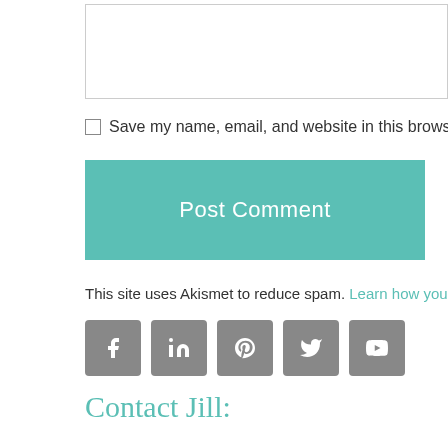[text input box]
Save my name, email, and website in this browser for th
Post Comment
This site uses Akismet to reduce spam. Learn how your cor
[Figure (other): Social media icons row: Facebook, LinkedIn, Pinterest, Twitter, YouTube - grey square icon buttons]
Contact Jill:
Email: Jill@JillRussoFoster.com or use this form.
Looking for something?
Search this website